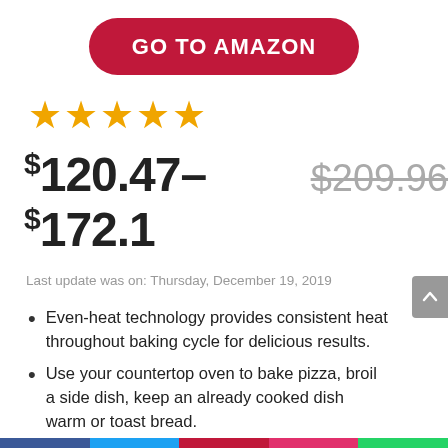[Figure (other): Red rounded rectangle button with white bold text GO TO AMAZON]
★★★★★
$120.47–$172.1 $209.96 (strikethrough)
Last update was on: Thursday, December 19, 2019
Even-heat technology provides consistent heat throughout baking cycle for delicious results.
Use your countertop oven to bake pizza, broil a side dish, keep an already cooked dish warm or toast bread.
9 pre-programmed functions such as the Asado